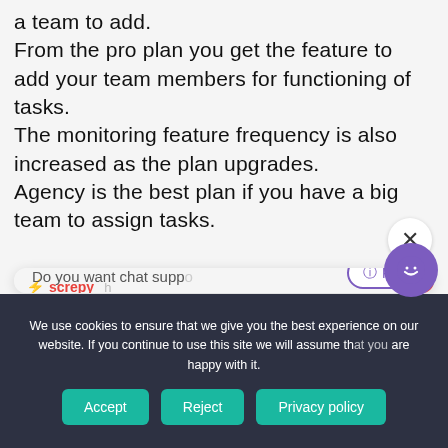a team to add. From the pro plan you get the feature to add your team members for functioning of tasks. The monitoring feature frequency is also increased as the plan upgrades. Agency is the best plan if you have a big team to assign tasks.
[Figure (screenshot): A chat widget overlay showing 'screpy' branding, a chat bubble with 'Hi there' and 'How can we help you today?', a partially visible 'Do you want chat supp...' message, and an FAQ button with purple border.]
We use cookies to ensure that we give you the best experience on our website. If you continue to use this site we will assume that you are happy with it.
Accept   Reject   Privacy policy